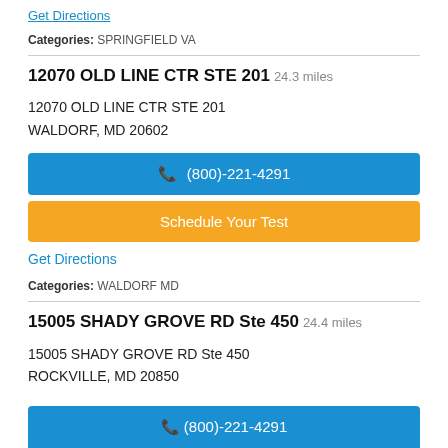Get Directions
Categories: SPRINGFIELD VA
12070 OLD LINE CTR STE 201 24.3 miles
12070 OLD LINE CTR STE 201
WALDORF, MD 20602
(800)-221-4291
Schedule Your Test
Get Directions
Categories: WALDORF MD
15005 SHADY GROVE RD Ste 450 24.4 miles
15005 SHADY GROVE RD Ste 450
ROCKVILLE, MD 20850
(800)-221-4291